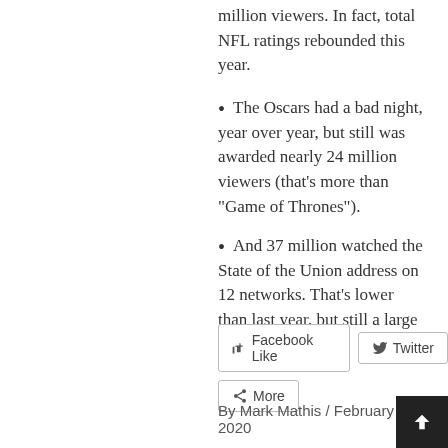million viewers. In fact, total NFL ratings rebounded this year.
The Oscars had a bad night, year over year, but still was awarded nearly 24 million viewers (that’s more than “Game of Thrones”).
And 37 million watched the State of the Union address on 12 networks. That’s lower than last year, but still a large number.
Facebook Like   Twitter   More
By Mark Mathis / February 13, 2020